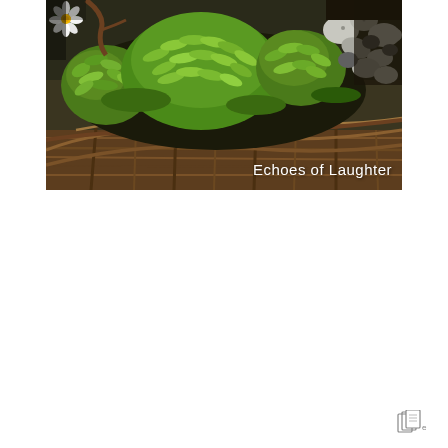[Figure (photo): Close-up photograph of a wicker basket planter containing dense green succulent plants, moss, small white pebbles and stones, and a small white flower in the upper left corner. Text overlay reads 'Echoes of Laughter' in white on the lower right.]